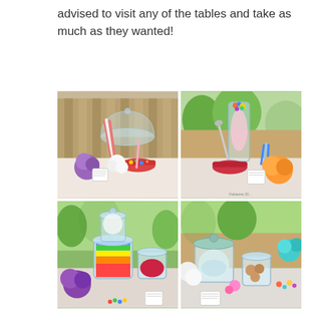advised to visit any of the tables and take as much as they wanted!
[Figure (photo): Four photos of candy bar / candy buffet tables at an outdoor party. Each photo shows glass jars, apothecary containers, and decorative tissue paper pom-poms filled with colorful candies, gumballs, jellybeans, and other sweets on white-tablecloth tables in a backyard setting.]